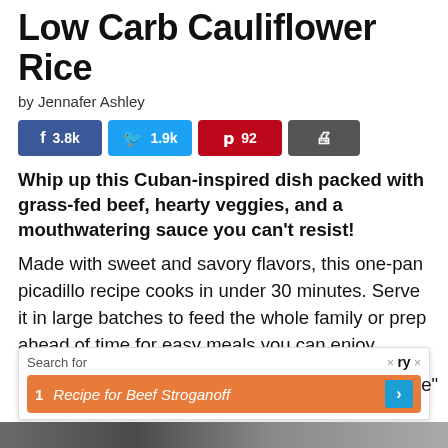Low Carb Cauliflower Rice
by Jennafer Ashley
[Figure (infographic): Social share buttons: Facebook 3.8k, Twitter 1.9k, Pinterest 92, Print]
Whip up this Cuban-inspired dish packed with grass-fed beef, hearty veggies, and a mouthwatering sauce you can't resist! Made with sweet and savory flavors, this one-pan picadillo recipe cooks in under 30 minutes. Serve it in large batches to feed the whole family or prep ahead of time for easy meals you can enjoy during the week.
The ... raisi ...
[Figure (screenshot): Ad overlay: Search for 'Recipe for Beef Stroganoff' with orange background and blue arrow button, and partial text showing 'ry' and 'e"' on either side]